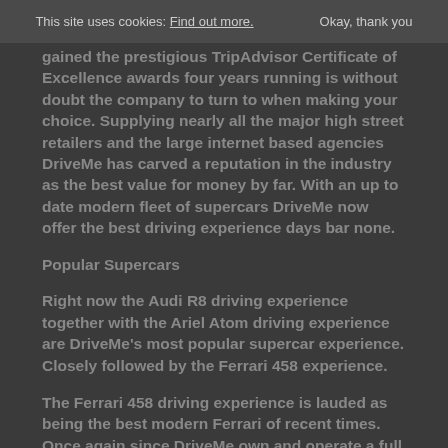This site uses cookies: Find out more.   Okay, thank you
gained the prestigious TripAdvisor Certificate of Excellence awards four years running is without doubt the company to turn to when making your choice. Supplying nearly all the major high street retailers and the large internet based agencies DriveMe has carved a reputation in the industry as the best value for money by far. With an up to date modern fleet of supercars DriveMe now offer the best driving experience days bar none.
Popular Supercars
Right now the Audi R8 driving experience together with the Ariel Atom driving experience are DriveMe's most popular supercar experience. Closely followed by the Ferrari 458 experience.
The Ferrari 458 driving experience is lauded as being the best modern Ferrari of recent times. Once again since DriveMe own and operate a full fleet of Ferrari's so a Ferrari experience day for someone you know with a passion for this great Italian